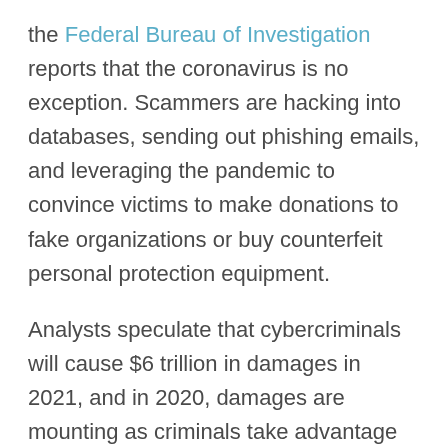the Federal Bureau of Investigation reports that the coronavirus is no exception. Scammers are hacking into databases, sending out phishing emails, and leveraging the pandemic to convince victims to make donations to fake organizations or buy counterfeit personal protection equipment.
Analysts speculate that cybercriminals will cause $6 trillion in damages in 2021, and in 2020, damages are mounting as criminals take advantage of this situation.